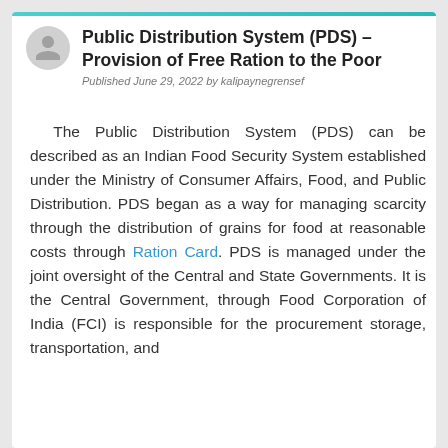Public Distribution System (PDS) – Provision of Free Ration to the Poor
Published June 29, 2022 by kalipaynegrensef
The Public Distribution System (PDS) can be described as an Indian Food Security System established under the Ministry of Consumer Affairs, Food, and Public Distribution. PDS began as a way for managing scarcity through the distribution of grains for food at reasonable costs through Ration Card. PDS is managed under the joint oversight of the Central and State Governments. It is the Central Government, through Food Corporation of India (FCI) is responsible for the procurement storage, transportation, and